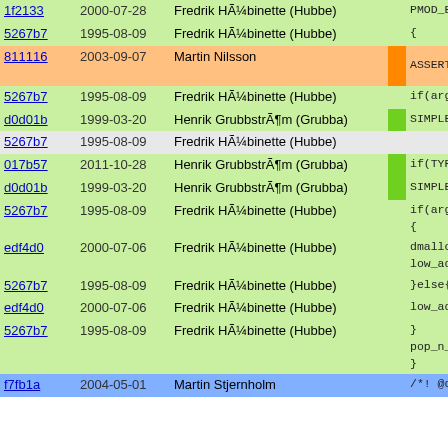| hash | date | author |  | code |
| --- | --- | --- | --- | --- |
| 1f2133 | 2000-07-28 | Fredrik HÃ¼binette (Hubbe) |  | PMOD_EXPOR |
| 5267b7 | 1995-08-09 | Fredrik HÃ¼binette (Hubbe) |  | { |
| 811116 | 2003-09-07 | Martin Nilsson |  | ASSERT_S |
| 5267b7 | 1995-08-09 | Fredrik HÃ¼binette (Hubbe) |  | if(args< |
| d0d01b | 1999-03-20 | Henrik GrubbstrÃ¶m (Grubba) |  | SIMPLE |
| 5267b7 | 1995-08-09 | Fredrik HÃ¼binette (Hubbe) |  |  |
| 017b57 | 2011-10-28 | Henrik GrubbstrÃ¶m (Grubba) |  | if(TYPEO |
| d0d01b | 1999-03-20 | Henrik GrubbstrÃ¶m (Grubba) |  | SIMPLE |
| 5267b7 | 1995-08-09 | Fredrik HÃ¼binette (Hubbe) |  | if(args>
{ |
| edf4d0 | 2000-07-06 | Fredrik HÃ¼binette (Hubbe) |  | dmallo
low_ad |
| 5267b7 | 1995-08-09 | Fredrik HÃ¼binette (Hubbe) |  | }else{ |
| edf4d0 | 2000-07-06 | Fredrik HÃ¼binette (Hubbe) |  | low_ad |
| 5267b7 | 1995-08-09 | Fredrik HÃ¼binette (Hubbe) |  | }
pop_n_el
} |
| f7fb1a | 2004-05-01 | Martin Stjernholm |  | /*! @decl |